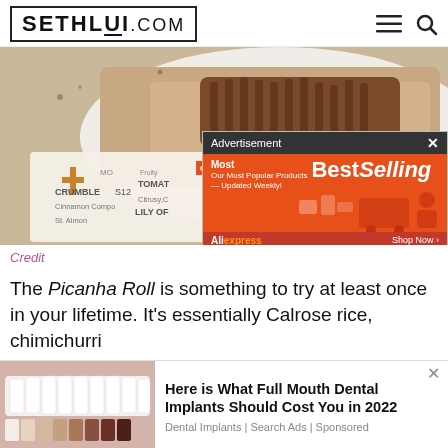SETHLUI.COM
[Figure (photo): Food photo showing a dish with grilled meat (Picanha) with a menu/receipt partially visible in the lower left, and an advertisement overlay in the lower right showing 'Best Selling' on orange background]
Credit
The Picanha Roll is something to try at least once in your lifetime. It's essentially Calrose rice, chimichurri
[Figure (screenshot): Bottom advertisement banner showing dental implants photo on left and text 'Here is What Full Mouth Dental Implants Should Cost You in 2022' with 'Dental Implants | Search Ads | Sponsored']